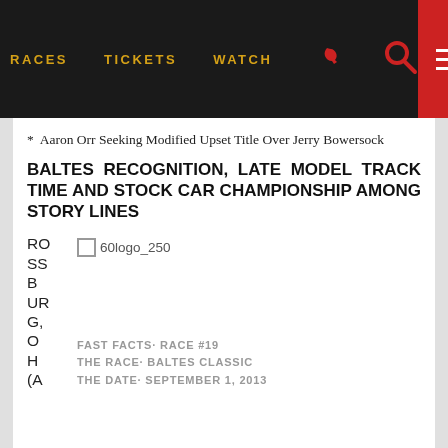RACES   TICKETS   WATCH
* Aaron Orr Seeking Modified Upset Title Over Jerry Bowersock
BALTES RECOGNITION, LATE MODEL TRACK TIME AND STOCK CAR CHAMPIONSHIP AMONG STORY LINES
[Figure (logo): ROSSBURG, OH logo placeholder with checkbox image placeholder labeled 60logo_250]
FAST FACTS· RACE #19
THE RACE· BALTES CLASSIC
THE DATE· SEPTEMBER 1, 2013